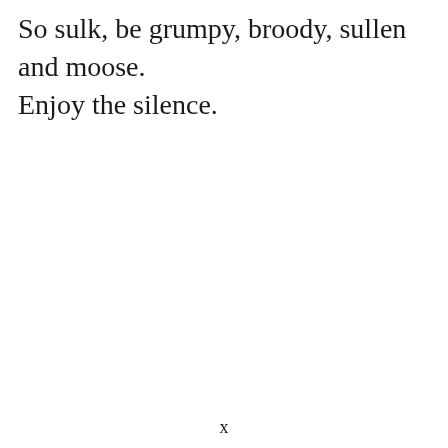So sulk, be grumpy, broody, sullen and moose. Enjoy the silence.
x